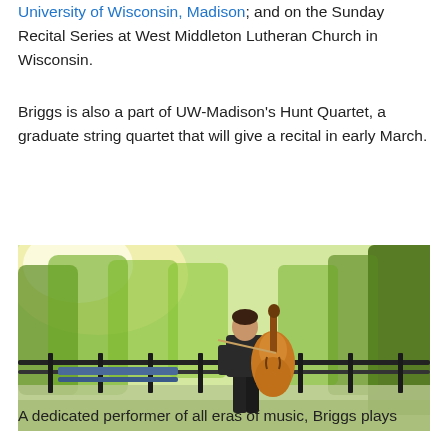University of Wisconsin, Madison; and on the Sunday Recital Series at West Middleton Lutheran Church in Wisconsin.
Briggs is also a part of UW-Madison's Hunt Quartet, a graduate string quartet that will give a recital in early March.
[Figure (photo): A young man in a dark suit holding a cello, standing in a park with trees and a metal fence in the background, sunlight filtering through the leaves.]
A dedicated performer of all eras of music, Briggs plays